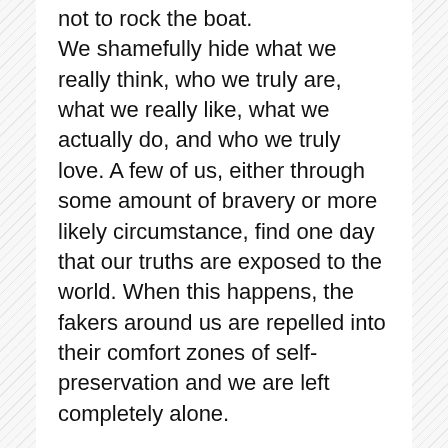not to rock the boat. We shamefully hide what we really think, who we truly are, what we really like, what we actually do, and who we truly love. A few of us, either through some amount of bravery or more likely circumstance, find one day that our truths are exposed to the world. When this happens, the fakers around us are repelled into their comfort zones of self-preservation and we are left completely alone.
Do we have to be fakers to be loved and accepted? Do we have to keep our truest selves, our most real feelings, and our sacred relationships hidden from the world in fear? Must the goodness and purity that